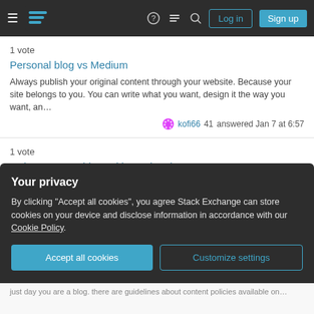Stack Exchange navigation bar with Log in and Sign up buttons
1 vote
Personal blog vs Medium
Always publish your original content through your website. Because your site belongs to you. You can write what you want, design it the way you want, an…
kofi66 41 answered Jan 7 at 6:57
1 vote
Is there any problem with posting the same content on multiple Websites?
I found out there is no problem to any website if you put nor complete article on another website. and also put the link of the original article in the bottom …
Tech Zone 201 answered Aug 8, 2019 at 4:44
Your privacy
By clicking "Accept all cookies", you agree Stack Exchange can store cookies on your device and disclose information in accordance with our Cookie Policy.
Accept all cookies
Customize settings